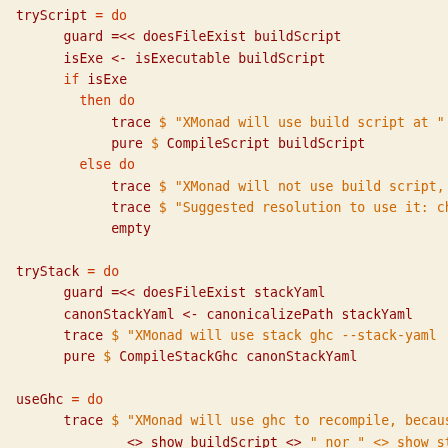Haskell source code showing tryScript, tryStack, useGhc, isExecutable, shouldCompile functions